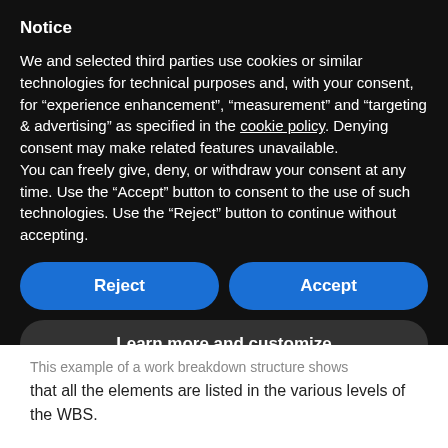Notice
We and selected third parties use cookies or similar technologies for technical purposes and, with your consent, for “experience enhancement”, “measurement” and “targeting & advertising” as specified in the cookie policy. Denying consent may make related features unavailable.
You can freely give, deny, or withdraw your consent at any time. Use the “Accept” button to consent to the use of such technologies. Use the “Reject” button to continue without accepting.
Reject
Accept
Learn more and customize
This example of a work breakdown structure shows that all the elements are listed in the various levels of the WBS.